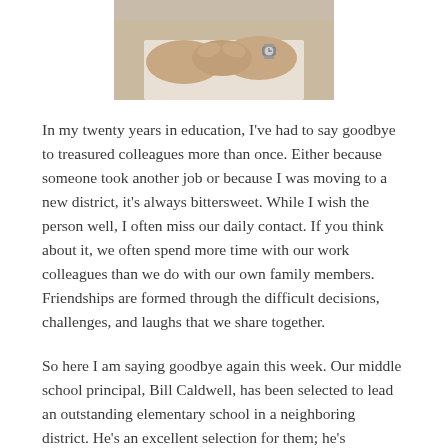[Figure (photo): Cropped photo showing a person's hands clasped together on a table, wearing a watch, in a light-colored top.]
In my twenty years in education, I've had to say goodbye to treasured colleagues more than once. Either because someone took another job or because I was moving to a new district, it's always bittersweet. While I wish the person well, I often miss our daily contact. If you think about it, we often spend more time with our work colleagues than we do with our own family members. Friendships are formed through the difficult decisions, challenges, and laughs that we share together.
So here I am saying goodbye again this week. Our middle school principal, Bill Caldwell, has been selected to lead an outstanding elementary school in a neighboring district. He's an excellent selection for them; he's outgoing, positive,